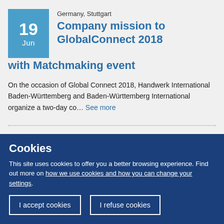Germany, Stuttgart
Company mission to GlobalConnect 2018 with Matchmaking event
On the occasion of Global Connect 2018, Handwerk International Baden-Württemberg and Baden-Württemberg International organize a two-day co... See more
the Netherlands, Utrecht
Brokerage event during
Cookies
This site uses cookies to offer you a better browsing experience. Find out more on how we use cookies and how you can change your settings.